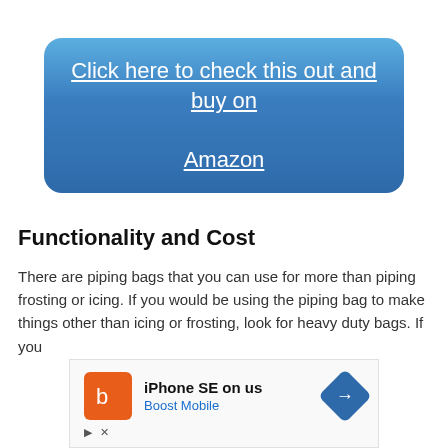[Figure (other): Blue rounded rectangle button with text 'Click here to check this out and buy on Amazon' in white underlined text]
Functionality and Cost
There are piping bags that you can use for more than piping frosting or icing. If you would be using the piping bag to make things other than icing or frosting, look for heavy duty bags. If you
[Figure (infographic): Advertisement overlay: Boost Mobile ad for iPhone SE on us, with orange Boost Mobile logo icon, blue navigation arrow icon, and play/close controls]